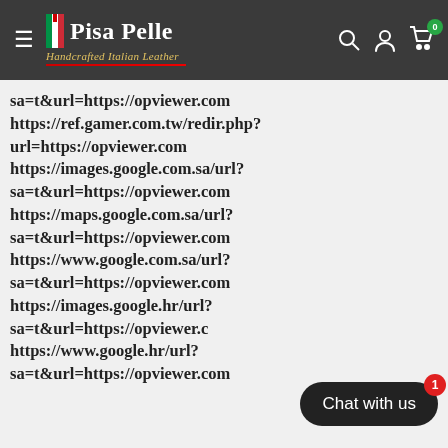Pisa Pelle — Handcrafted Italian Leather — navigation header with search, account, and cart icons
sa=t&url=https://opviewer.com
https://ref.gamer.com.tw/redir.php?url=https://opviewer.com
https://images.google.com.sa/url?sa=t&url=https://opviewer.com
https://maps.google.com.sa/url?sa=t&url=https://opviewer.com
https://www.google.com.sa/url?sa=t&url=https://opviewer.com
https://images.google.hr/url?sa=t&url=https://opviewer.com
https://www.google.hr/url?sa=t&url=https://opviewer.com